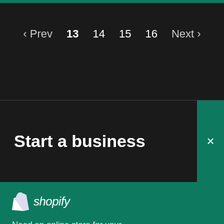[Figure (screenshot): Pagination navigation on dark background showing: Prev, 13 (current/bold), 14, 15, 16, Next]
Start a business
[Figure (logo): Shopify logo (bag icon + shopify text in italic)]
Need an online store for your business?
Start free trial